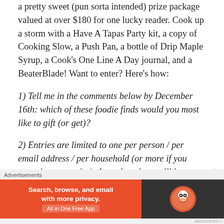a pretty sweet (pun sorta intended) prize package valued at over $180 for one lucky reader. Cook up a storm with a Have A Tapas Party kit, a copy of Cooking Slow, a Push Pan, a bottle of Drip Maple Syrup, a Cook's One Line A Day journal, and a BeaterBlade! Want to enter? Here's how:
1) Tell me in the comments below by December 16th: which of these foodie finds would you most like to gift (or get)?
2) Entries are limited to one per person / per email address / per household (or more if you score bonus entries). A random draw will be conducted on or around December 17th and the winner will be notified
Advertisements
[Figure (other): DuckDuckGo advertisement banner: orange left panel with text 'Search, browse, and email with more privacy. All in One Free App' and dark right panel with DuckDuckGo logo]